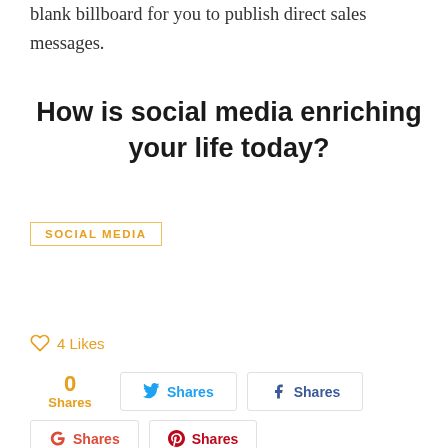blank billboard for you to publish direct sales messages.
How is social media enriching your life today?
SOCIAL MEDIA
♡ 4 Likes
0 Shares  🐦 Shares  f Shares
G+ Shares  ⓟ Shares